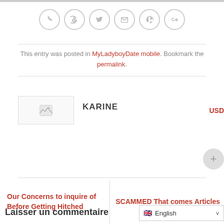[Figure (infographic): Row of 6 social/contact icon circles: phone, Facebook, Twitter, email, Pinterest, Google+]
This entry was posted in MyLadyboyDate mobile. Bookmark the permalink.
[Figure (photo): Author avatar placeholder image thumbnail for KARINE]
KARINE
USD
+ button
Our Concerns to inquire of Before Getting Hitched
SCAMMED That comes Articles
Laisser un commentaire
[Figure (screenshot): English language selector dropdown with UK flag]